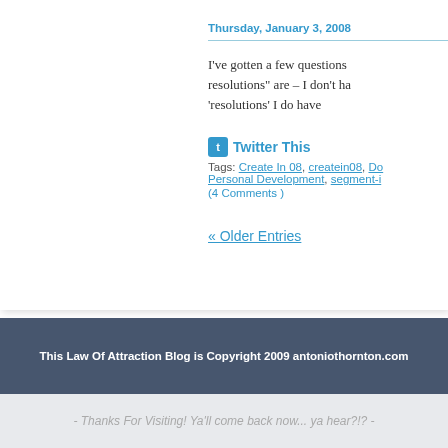Thursday, January 3, 2008
I've gotten a few questions resolutions" are – I don't ha 'resolutions' I do have
Twitter This
Tags: Create In 08, createin08, Do Personal Development, segment-i (4 Comments )
« Older Entries
This Law Of Attraction Blog is Copyright 2009 antoniothornton.com
- Thanks For Visiting! Ya'll come back now... ya hear?!? -